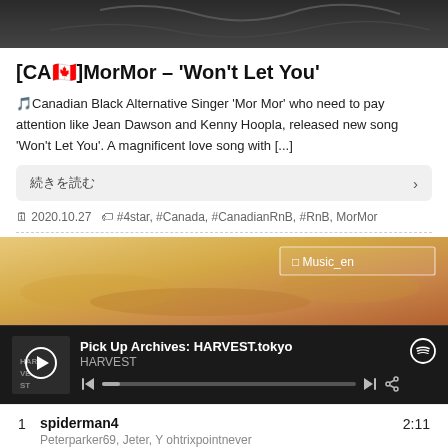[Figure (photo): Top portion of an article cover image, dark monochrome background]
[CA🇨🇦]MorMor – 'Won't Let You'
🎵Canadian Black Alternative Singer 'Mor Mor' who need to pay attention like Jean Dawson and Kenny Hoopla, released new song 'Won't Let You'. A magnificent love song with [...]
続きを読む →
2020.10.27  #4star, #Canada, #CanadianRnB, #RnB, MorMor
[Figure (photo): Warm golden/orange sky landscape image with Music_en badge overlay]
[Figure (screenshot): Spotify player widget showing Pick Up Archives: HARVEST.tokyo playlist by HARVEST, with playback controls and progress bar]
1  spiderman4  2:11
Peterparker69, Jeter, Y ohtrixpointnever
2  Flight to Mumbai  2:25